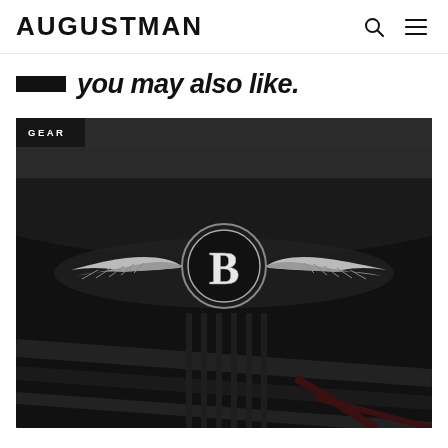AUGUSTMAN
you may also like.
[Figure (photo): Close-up dark photo of a Bentley winged B hood ornament/logo on a black car grille, with a 'GEAR' category tag overlay in the top-left corner.]